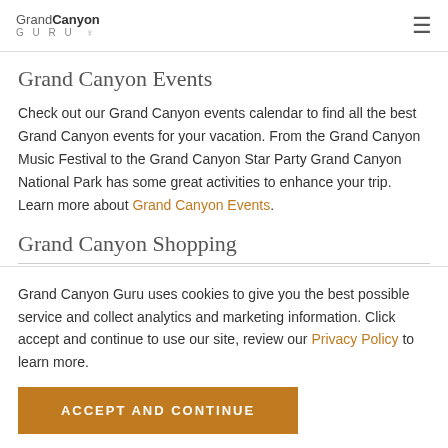Grand Canyon GURU
Grand Canyon Events
Check out our Grand Canyon events calendar to find all the best Grand Canyon events for your vacation. From the Grand Canyon Music Festival to the Grand Canyon Star Party Grand Canyon National Park has some great activities to enhance your trip. Learn more about Grand Canyon Events.
Grand Canyon Shopping
Grand Canyon Guru uses cookies to give you the best possible service and collect analytics and marketing information. Click accept and continue to use our site, review our Privacy Policy to learn more.
ACCEPT AND CONTINUE